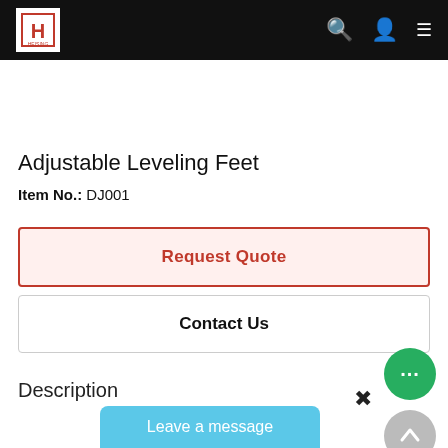HEISING logo navigation bar with search, user, and menu icons
Adjustable Leveling Feet
Item No.: DJ001
Request Quote
Contact Us
Description
Leave a message